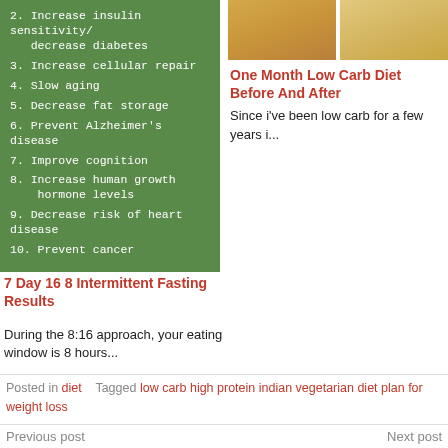2. Increase insulin sensitivity/ decrease diabetes
3. Increase cellular repair
4. Slow aging
5. Decrease fat storage
6. Prevent Alzheimer's disease
7. Improve cognition
8. Increase human growth hormone levels
9. Decrease risk of heart disease
10. Prevent cancer
[Figure (photo): Before and after photos of a person on a low carb diet, wearing yellow outfit]
One Month Low Carb Diet Before And After
Since i've been low carb for a few years i...
7 Day 16 8 Intermittent Fasting Results
During the 8:16 approach, your eating window is 8 hours...
Posted in diet    Tagged low carb high protein indian vegetarian diet plan for weight loss
Previous post    Next post